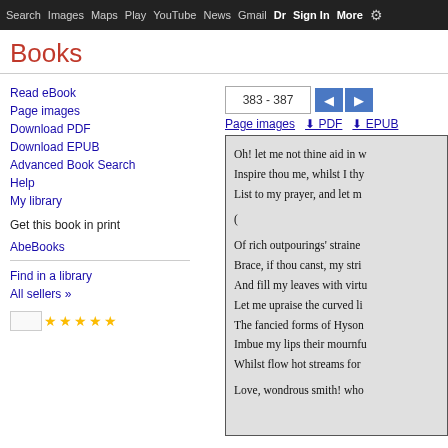Search  Images  Maps  Play  YouTube  News  Gmail  Drive  More  Sign in
Books
383 - 387 | Page images | PDF | EPUB
Read eBook
Page images
Download PDF
Download EPUB
Advanced Book Search
Help
My library
Get this book in print
AbeBooks
Find in a library
All sellers »
Oh! let me not thine aid in w
Inspire thou me, whilst I th
List to my prayer, and let m

(

Of rich outpourings' straine
Brace, if thou canst, my str
And fill my leaves with virt
Let me upraise the curved l
The fancied forms of Hyson
Imbue my lips their mournf
Whilst flow hot streams for

Love, wondrous smith! who